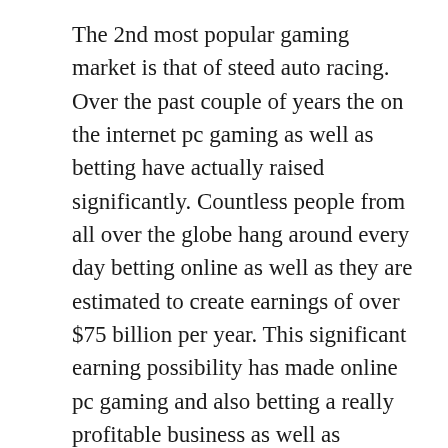The 2nd most popular gaming market is that of steed auto racing. Over the past couple of years the on the internet pc gaming as well as betting have actually raised significantly. Countless people from all over the globe hang around every day betting online as well as they are estimated to create earnings of over $75 billion per year. This significant earning possibility has made online pc gaming and also betting a really profitable business as well as additionally a closely protected one. There are different controversies and debates raving all over the globe concerning the law of on the internet gambling and also sporting activities betting.